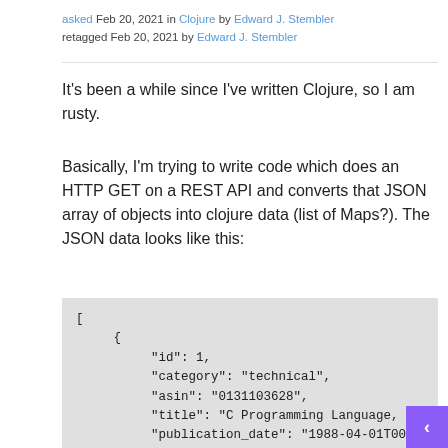asked Feb 20, 2021 in Clojure by Edward J. Stembler
retagged Feb 20, 2021 by Edward J. Stembler
It's been a while since I've written Clojure, so I am rusty.
Basically, I'm trying to write code which does an HTTP GET on a REST API and converts that JSON array of objects into clojure data (list of Maps?). The JSON data looks like this:
[
     {
          "id": 1,
          "category": "technical",
          "asin": "0131103628",
          "title": "C Programming Language, 2nd Ed
          "publication_date": "1988-04-01T00:00:00
          "review": "The C book.",
          "created_at": "2020-03-06T20:48:00Z"
     },